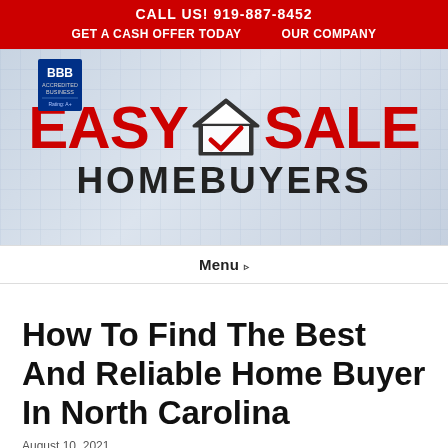CALL US! 919-887-8452
GET A CASH OFFER TODAY   OUR COMPANY
[Figure (logo): Easy Sale Homebuyers logo with BBB badge, red text 'EASY SALE' and dark text 'HOMEBUYERS', house icon with checkmark, on light blue-grey architectural background]
Menu ▸
How To Find The Best And Reliable Home Buyer In North Carolina
August 10, 2021